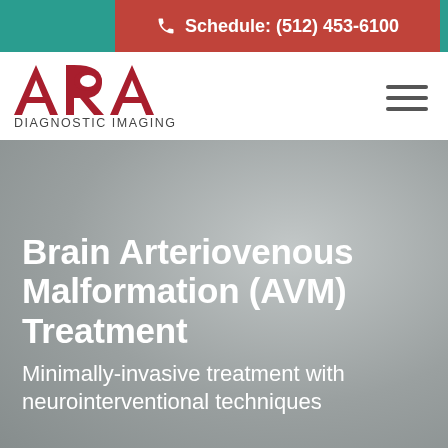Schedule: (512) 453-6100
[Figure (logo): ARA Diagnostic Imaging logo — bold red letters ARA with DIAGNOSTIC IMAGING beneath]
Brain Arteriovenous Malformation (AVM) Treatment
Minimally-invasive treatment with neurointerventional techniques